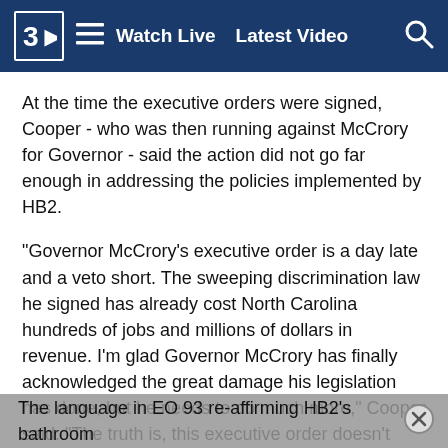3D  ≡  Watch Live  Latest Video  🔍
At the time the executive orders were signed, Cooper - who was then running against McCrory for Governor - said the action did not go far enough in addressing the policies implemented by HB2.
"Governor McCrory's executive order is a day late and a veto short. The sweeping discrimination law he signed has already cost North Carolina hundreds of jobs and millions of dollars in revenue. I'm glad Governor McCrory has finally acknowledged the great damage his legislation has done, but he needs to do much more," Cooper said. "The truth is, this executive order doesn't change the fact that HB 2 has written discrimination into the law. Governor, work to repeal HB 2."
The language in EO 93 re-affirming HB2's bathroom